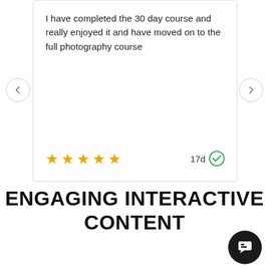I have completed the 30 day course and really enjoyed it and have moved on to the full photography course
[Figure (other): Five gold star rating with '17d' verified checkmark badge]
ENGAGING INTERACTIVE CONTENT